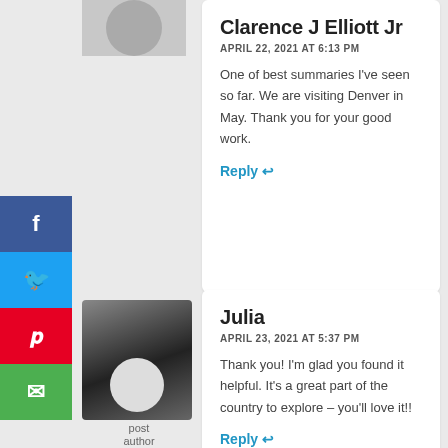Clarence J Elliott Jr
APRIL 22, 2021 AT 6:13 PM
One of best summaries I've seen so far. We are visiting Denver in May. Thank you for your good work.
Reply ↩
Julia
APRIL 23, 2021 AT 5:37 PM
Thank you! I'm glad you found it helpful. It's a great part of the country to explore – you'll love it!!
Reply ↩
post author